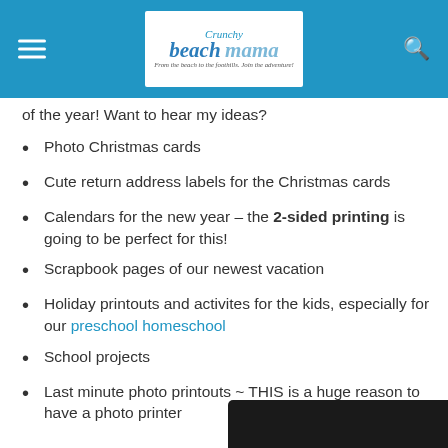Crunchy Beach Mama — From the beach to the foothills. Join the adventure!
of the year! Want to hear my ideas?
Photo Christmas cards
Cute return address labels for the Christmas cards
Calendars for the new year – the 2-sided printing is going to be perfect for this!
Scrapbook pages of our newest vacation
Holiday printouts and activites for the kids, especially for our preschool homeschool
School projects
Last minute photo printouts ~ THIS is a huge reason to have a photo printer
[Figure (photo): Bottom corner of a black printer device visible at bottom right of page]